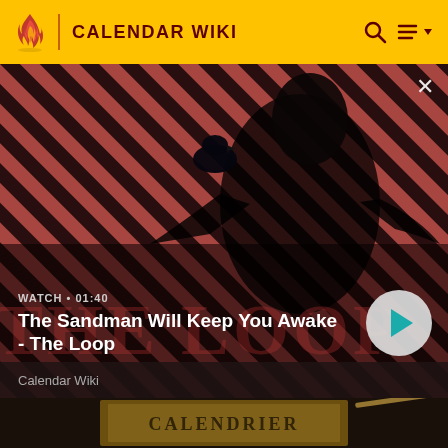CALENDAR WIKI
[Figure (screenshot): Video thumbnail showing a dark figure with a raven on shoulder against a red and dark diagonal striped background, with THE LOOP text watermark. Shows WATCH • 01:40 label and play button.]
The Sandman Will Keep You Awake - The Loop
Calendar Wiki
[Figure (photo): Close-up of an aged book or document with the text CALENDRIER embossed or printed on the cover, dark moody background.]